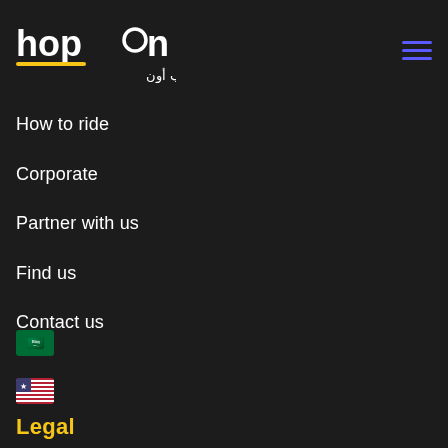[Figure (logo): hop on logo with white text and Arabic subtitle هـوب أون]
[Figure (other): Hamburger menu icon with three purple horizontal lines]
How to ride
Corporate
Partner with us
Find us
Contact us
[Figure (illustration): Saudi Arabia flag emoji]
[Figure (illustration): United States flag emoji]
Legal